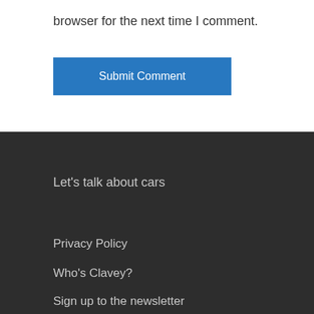browser for the next time I comment.
Submit Comment
Let's talk about cars
Privacy Policy
Who's Clavey?
Sign up to the newsletter